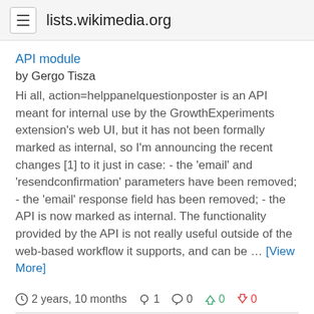lists.wikimedia.org
API module
by Gergo Tisza
Hi all, action=helppanelquestionposter is an API meant for internal use by the GrowthExperiments extension's web UI, but it has not been formally marked as internal, so I'm announcing the recent changes [1] to it just in case: - the 'email' and 'resendconfirmation' parameters have been removed; - the 'email' response field has been removed; - the API is now marked as internal. The functionality provided by the API is not really useful outside of the web-based workflow it supports, and can be … [View More]
2 years, 10 months  1  0  0  0
BREAKING CHANGE: Format of blockexpiry